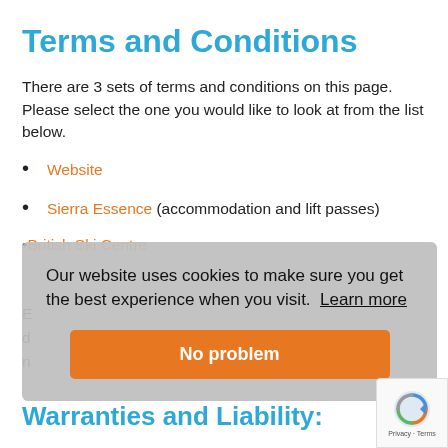Terms and Conditions
There are 3 sets of terms and conditions on this page. Please select the one you would like to look at from the list below.
Website
Sierra Essence (accommodation and lift passes)
British Ski Centre (ski school and lessons)
Our website uses cookies to make sure you get the best experience when you visit.  Learn more
Warranties and Liability: